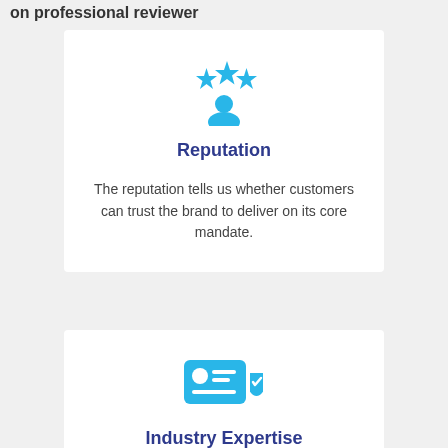on professional reviewer
[Figure (illustration): Blue icon of a person with three stars above their head, representing reputation/reviews]
Reputation
The reputation tells us whether customers can trust the brand to deliver on its core mandate.
[Figure (illustration): Blue icon of an ID card with a shield badge, representing industry expertise and reliability]
Industry Expertise & Reliability
Our experts analyze metrics about the